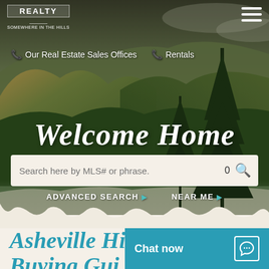[Figure (photo): Mountain landscape background with lush green forested mountains under a partly cloudy sky, with tall pine trees in the foreground on the right side.]
REALTY
Our Real Estate Sales Offices   Rentals
Welcome Home
Search here by MLS# or phrase.   0
ADVANCED SEARCH ▶   NEAR ME ▶
Asheville Hi... Buying Gui...
Chat now